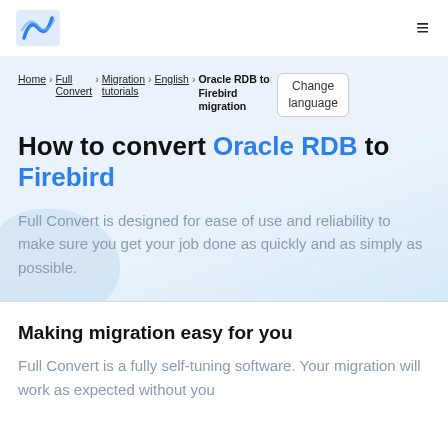Full Convert logo | hamburger menu
Home > Full Convert > Migration tutorials > English > Oracle RDB to Firebird migration | Change language
How to convert Oracle RDB to Firebird
Full Convert is designed for ease of use and reliability to make sure you get your job done as quickly and as simply as possible.
Making migration easy for you
Full Convert is a fully self-tuning software. Your migration will work as expected without you